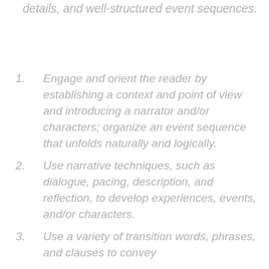details, and well-structured event sequences.
Engage and orient the reader by establishing a context and point of view and introducing a narrator and/or characters; organize an event sequence that unfolds naturally and logically.
Use narrative techniques, such as dialogue, pacing, description, and reflection, to develop experiences, events, and/or characters.
Use a variety of transition words, phrases, and clauses to convey